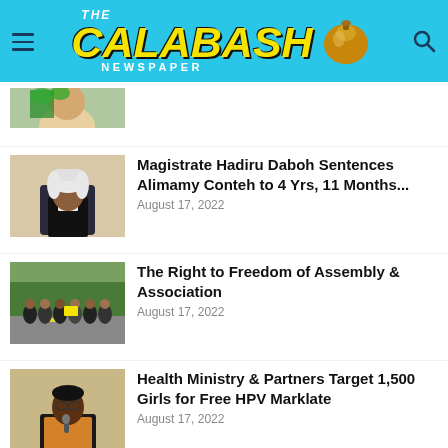THE CALABASH NEWSPAPER
[Figure (photo): Partial photo of a woman with green accessories, cropped at top of news list]
[Figure (photo): Photo of a magistrate/judge in wig and robes seated in chair]
Magistrate Hadiru Daboh Sentences Alimamy Conteh to 4 Yrs, 11 Months...
August 17, 2022
[Figure (photo): Photo of a crowd of people marching/walking on a road]
The Right to Freedom of Assembly & Association
August 17, 2022
[Figure (photo): Photo of a woman speaking into a microphone, wearing glasses]
Health Ministry & Partners Target 1,500 Girls for Free HPV Marklate
August 17, 2022